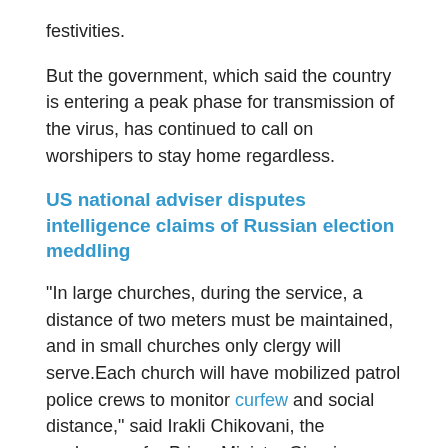festivities.
But the government, which said the country is entering a peak phase for transmission of the virus, has continued to call on worshipers to stay home regardless.
US national adviser disputes intelligence claims of Russian election meddling
“In large churches, during the service, a distance of two meters must be maintained, and in small churches only clergy will serve.Each church will have mobilized patrol police crews to monitor curfew and social distance,” said Irakli Chikovani, the spokesman for Prime Minister Giorgi Gakharia, reported Tbilisi Week. “Citizens must comply with curfew conditions, otherwise measures will be taken.”